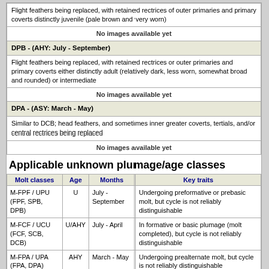| Flight feathers being replaced, with retained rectrices of outer primaries and primary coverts distinctly juvenile (pale brown and very worn) |
| No images available yet |
| DPB - (AHY: July - September) |
| Flight feathers being replaced, with retained rectrices or outer primaries and primary coverts either distinctly adult (relatively dark, less worn, somewhat broad and rounded) or intermediate |
| No images available yet |
| DPA - (ASY: March - May) |
| Similar to DCB; head feathers, and sometimes inner greater coverts, tertials, and/or central rectrices being replaced |
| No images available yet |
Applicable unknown plumage/age classes
| Molt classes | Age | Months | Key traits |
| --- | --- | --- | --- |
| M-FPF / UPU (FPF, SPB, DPB) | U | July - September | Undergoing preformative or prebasic molt, but cycle is not reliably distinguishable |
| M-FCF / UCU (FCF, SCB, DCB) | U/AHY | July - April | In formative or basic plumage (molt completed), but cycle is not reliably distinguishable |
| M-FPA / UPA (FPA, DPA) | AHY | March - May | Undergoing prealternate molt, but cycle is not reliably distinguishable |
| M-FCA / UCA (FCA, DCA) | AHY | April - September | In alternate plumage (molt completed), but cycle is not reliably distinguishable |